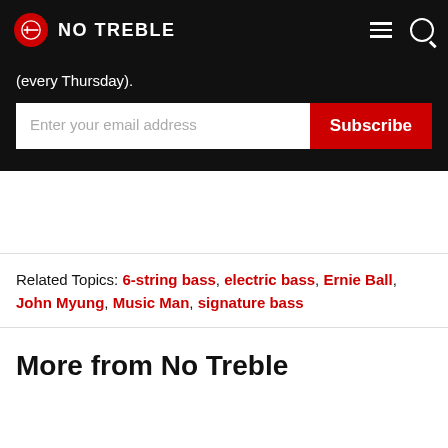NO TREBLE
(every Thursday).
Enter your email address  Subscribe
Related Topics: 6-string bass, electric bass, Ernie Ball, John Myung, Music Man, signature bass
More from No Treble